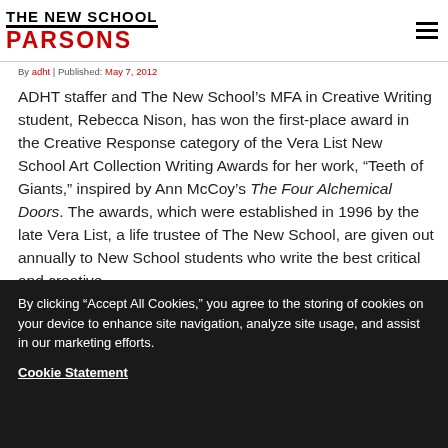THE NEW SCHOOL PARSONS
By adht | Published: May 7, 2012
ADHT staffer and The New School’s MFA in Creative Writing student, Rebecca Nison, has won the first-place award in the Creative Response category of the Vera List New School Art Collection Writing Awards for her work, “Teeth of Giants,” inspired by Ann McCoy’s The Four Alchemical Doors. The awards, which were established in 1996 by the late Vera List, a life trustee of The New School, are given out annually to New School students who write the best critical and creative
By clicking “Accept All Cookies,” you agree to the storing of cookies on your device to enhance site navigation, analyze site usage, and assist in our marketing efforts.
Cookie Statement